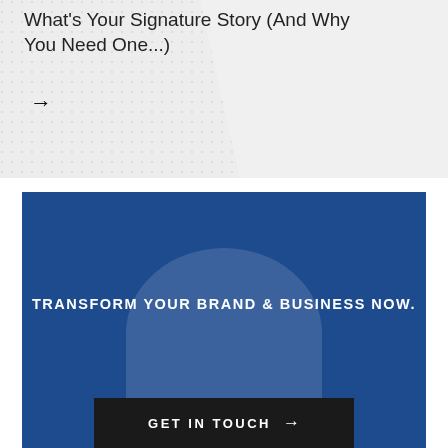What’s Your Signature Story (And Why You Need One...)
→
[Figure (illustration): Dark blue banner section with large semicircle shape and call-to-action button]
TRANSFORM YOUR BRAND & BUSINESS NOW.
GET IN TOUCH →